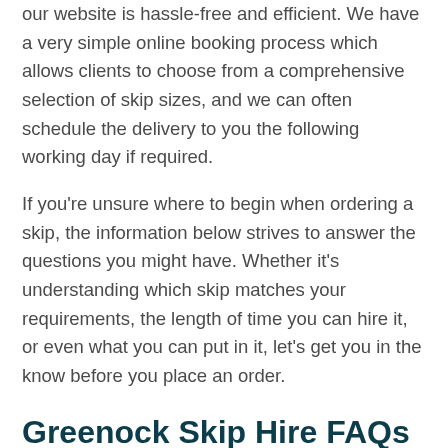our website is hassle-free and efficient. We have a very simple online booking process which allows clients to choose from a comprehensive selection of skip sizes, and we can often schedule the delivery to you the following working day if required.
If you're unsure where to begin when ordering a skip, the information below strives to answer the questions you might have. Whether it's understanding which skip matches your requirements, the length of time you can hire it, or even what you can put in it, let's get you in the know before you place an order.
Greenock Skip Hire FAQs
How much waste will fit in the mini